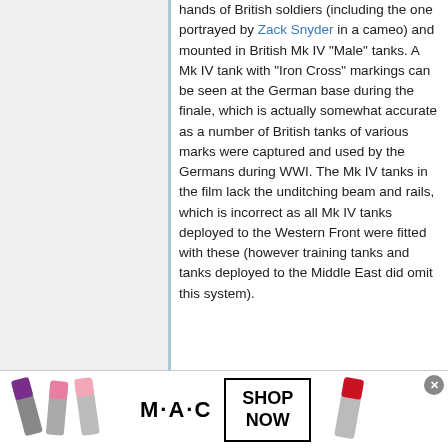hands of British soldiers (including the one portrayed by Zack Snyder in a cameo) and mounted in British Mk IV "Male" tanks. A Mk IV tank with "Iron Cross" markings can be seen at the German base during the finale, which is actually somewhat accurate as a number of British tanks of various marks were captured and used by the Germans during WWI. The Mk IV tanks in the film lack the unditching beam and rails, which is incorrect as all Mk IV tanks deployed to the Western Front were fitted with these (however training tanks and tanks deployed to the Middle East did omit this system).
[Figure (photo): Photograph of a military rifle/gun with wooden stock and cylindrical barrel mechanism, shown against a white background.]
[Figure (photo): MAC Cosmetics advertisement banner showing lipsticks in purple, pink colors on the left and red on the right, with MAC logo text in the center and a 'SHOP NOW' button.]